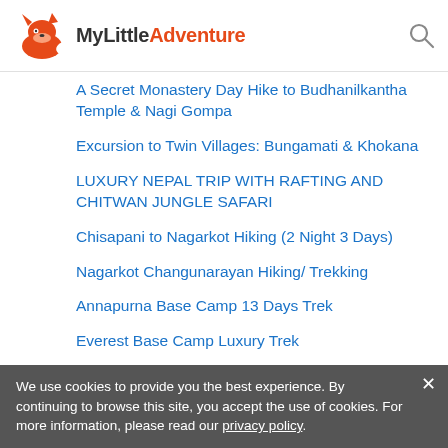MyLittleAdventure
A Secret Monastery Day Hike to Budhanilkantha Temple & Nagi Gompa
Excursion to Twin Villages: Bungamati & Khokana
LUXURY NEPAL TRIP WITH RAFTING AND CHITWAN JUNGLE SAFARI
Chisapani to Nagarkot Hiking (2 Night 3 Days)
Nagarkot Changunarayan Hiking/ Trekking
Annapurna Base Camp 13 Days Trek
Everest Base Camp Luxury Trek
Bhaktapur, Sightseeing with Nagarkot Hiking
Spa Treatments
1 Day Kathmandu Cultural Heritage Sightseeing Tour
Nepal Kathmandu Trekking ( With Sightseeing ) In KTM
Annapurna Base Camp/ Sanctuary Trek via Poon Hill
Cooking Class with US J
We use cookies to provide you the best experience. By continuing to browse this site, you accept the use of cookies. For more information, please read our privacy policy.